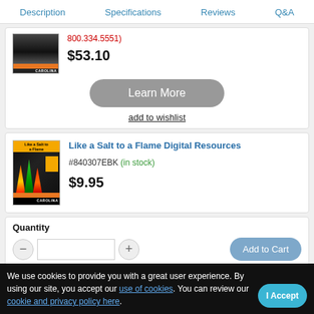Description  Specifications  Reviews  Q&A
800.334.5551)
$53.10
Learn More
add to wishlist
[Figure (photo): Book cover for Like a Salt to a Flame with flames image]
Like a Salt to a Flame Digital Resources
#840307EBK (in stock)
$9.95
Quantity
Add to Cart
We use cookies to provide you with a great user experience. By using our site, you accept our use of cookies. You can review our cookie and privacy policy here.
I Accept